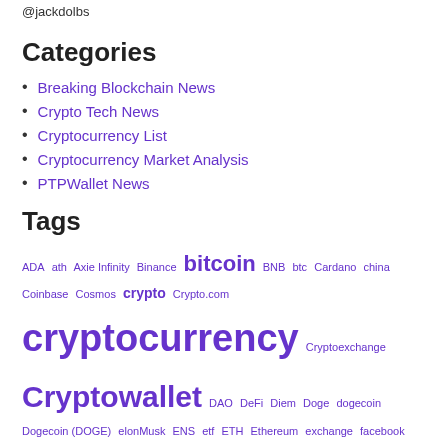@jackdolbs
Categories
Breaking Blockchain News
Crypto Tech News
Cryptocurrency List
Cryptocurrency Market Analysis
PTPWallet News
Tags
ADA ath Axie Infinity Binance bitcoin BNB btc Cardano china Coinbase Cosmos crypto Crypto.com cryptocurrency Cryptoexchange Cryptowallet DAO DeFi Diem Doge dogecoin Dogecoin (DOGE) elonMusk ENS etf ETH Ethereum exchange facebook Facebook Diem Huchi Metaverse NFT Polkadot ptpwallet